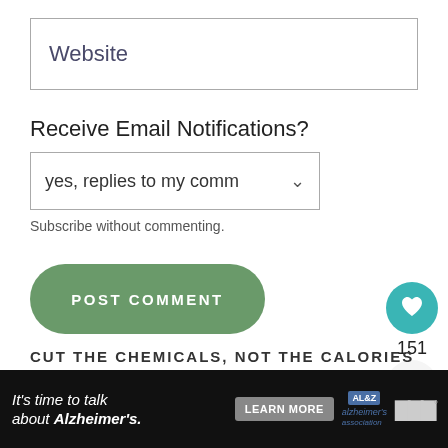Website
Receive Email Notifications?
yes, replies to my comm ▾
Subscribe without commenting.
POST COMMENT
151
CUT THE CHEMICALS, NOT THE CALORIES
Real, whole foods belong in your kitchen
It's time to talk about Alzheimer's.
LEARN MORE